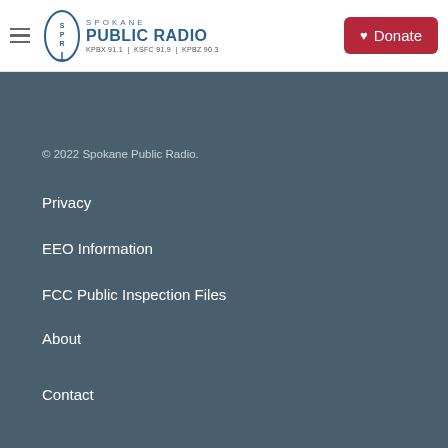Spokane Public Radio — KPBX 91.1 | KSFC 91.9 | KPBZ 90.3 | Donate
© 2022 Spokane Public Radio.
Privacy
EEO Information
FCC Public Inspection Files
About
Contact
KPBX 91.1 — Morning Classical